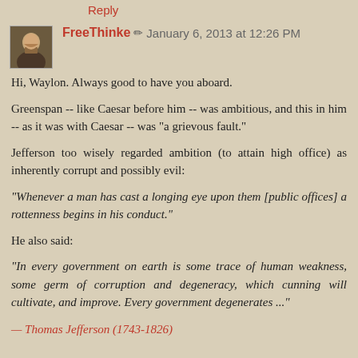Reply
FreeThinke ✏ January 6, 2013 at 12:26 PM
Hi, Waylon. Always good to have you aboard.
Greenspan -- like Caesar before him -- was ambitious, and this in him -- as it was with Caesar -- was "a grievous fault."
Jefferson too wisely regarded ambition (to attain high office) as inherently corrupt and possibly evil:
"Whenever a man has cast a longing eye upon them [public offices] a rottenness begins in his conduct."
He also said:
"In every government on earth is some trace of human weakness, some germ of corruption and degeneracy, which cunning will cultivate, and improve. Every government degenerates ..."
— Thomas Jefferson (1743-1826)